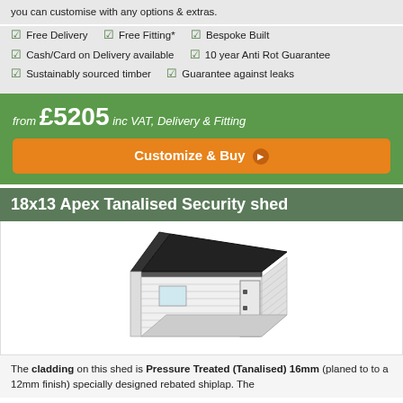you can customise with any options & extras.
Free Delivery   Free Fitting*   Bespoke Built
Cash/Card on Delivery available   10 year Anti Rot Guarantee
Sustainably sourced timber   Guarantee against leaks
from £5205 inc VAT, Delivery & Fitting
Customize & Buy
18x13 Apex Tanalised Security shed
[Figure (illustration): Illustration of an 18x13 Apex Tanalised Security shed, showing a wooden shed with a dark apex roof, horizontal shiplap cladding, and a door on the right side with T-bar hinges, drawn in perspective view.]
The cladding on this shed is Pressure Treated (Tanalised) 16mm (planed to to a 12mm finish) specially designed rebated shiplap. The